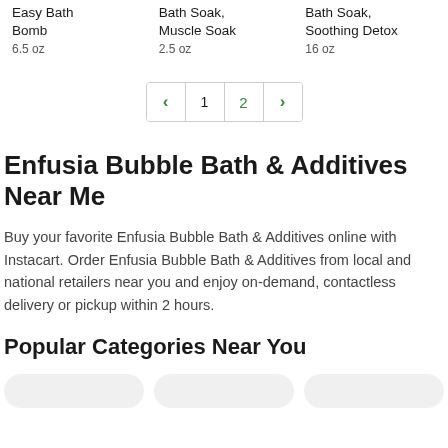Easy Bath Bomb
6.5 oz
Bath Soak, Muscle Soak
2.5 oz
Bath Soak, Soothing Detox
16 oz
[Figure (other): Pagination control showing < 1 2 > buttons]
Enfusia Bubble Bath & Additives Near Me
Buy your favorite Enfusia Bubble Bath & Additives online with Instacart. Order Enfusia Bubble Bath & Additives from local and national retailers near you and enjoy on-demand, contactless delivery or pickup within 2 hours.
Popular Categories Near You